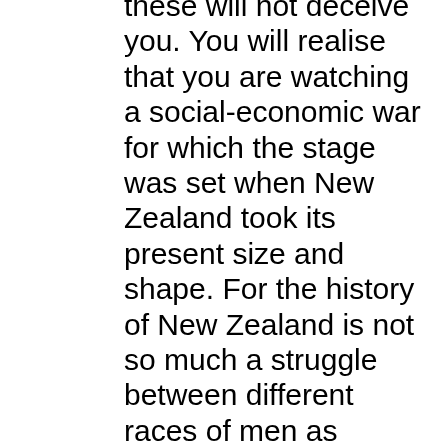these will not deceive you. You will realise that you are watching a social-economic war for which the stage was set when New Zealand took its present size and shape. For the history of New Zealand is not so much a struggle between different races of men as between two great families of domestic animals. It is the battle of the sheep and the cows, which began as soon as white men came here to settle, and will go on as long as New Zealand is lifted up in the centre and lies across the track of the ocean winds. And the battle of the sheep and the cows, if it is not quite the battle of two civilisations, is the battle of two social systems. Sheep make gentlemen and cows unmake them. Sheep leave you with clean hands and clean feet, but cows drag your pride into the mud.